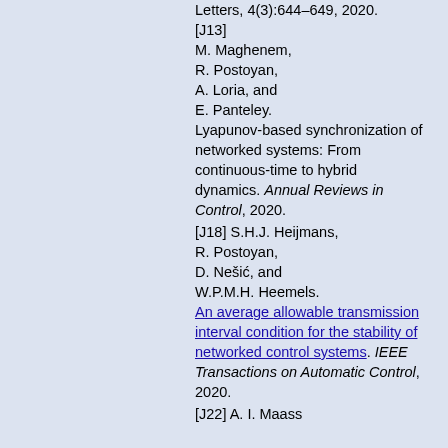Letters, 4(3):644–649, 2020.
[J13] M. Maghenem, R. Postoyan, A. Loria, and E. Panteley. Lyapunov-based synchronization of networked systems: From continuous-time to hybrid dynamics. Annual Reviews in Control, 2020.
[J18] S.H.J. Heijmans, R. Postoyan, D. Nešić, and W.P.M.H. Heemels. An average allowable transmission interval condition for the stability of networked control systems. IEEE Transactions on Automatic Control, 2020.
[J22] A. I. Maass...